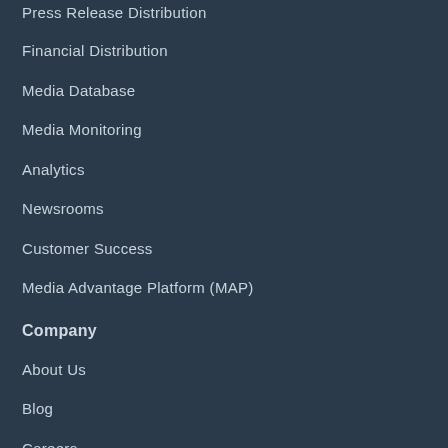Press Release Distribution
Financial Distribution
Media Database
Media Monitoring
Analytics
Newsrooms
Customer Success
Media Advantage Platform (MAP)
Company
About Us
Blog
Careers
Customer Stories
Our Media Room